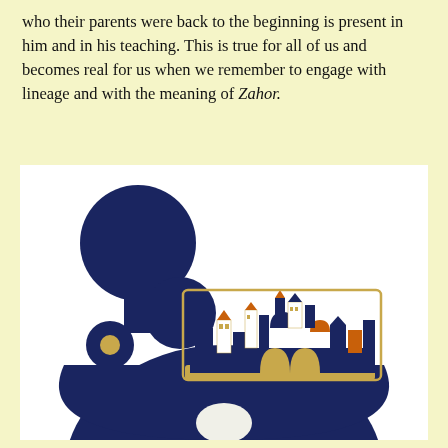who their parents were back to the beginning is present in him and in his teaching. This is true for all of us and becomes real for us when we remember to engage with lineage and with the meaning of Zahor.
[Figure (illustration): An illustration showing a dark navy blue abstract figure resembling a Hebrew letter or decorative symbol with circular shapes at the top and a large curved bowl shape at the bottom with a small gold circle. Overlaid in the center is a colorful enamel pin depicting the Jerusalem cityscape with blue, red, white, and gold buildings and walls.]